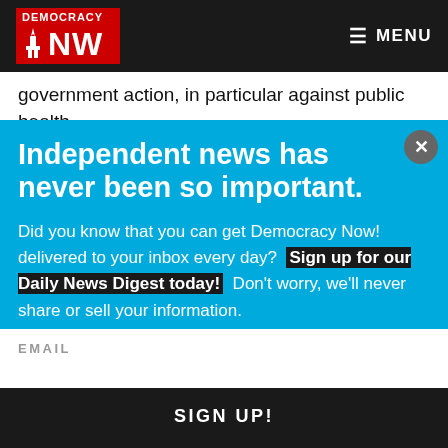Democracy Now! — MENU
government action, in particular against public health systems and public investment in the hospitals, this
Independent news has never been so important.
Did you know that you can get Democracy Now! delivered to your inbox every day? Sign up for our Daily News Digest today! Don't worry, we'll never share or sell your information.
EMAIL
SIGN UP!